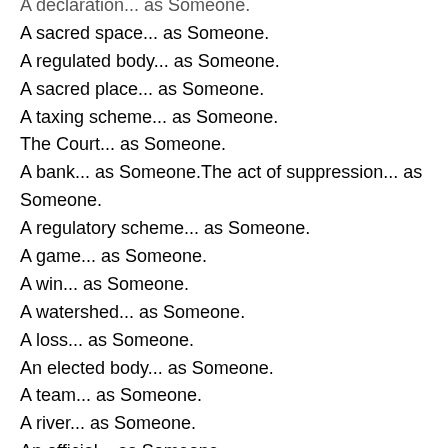A declaration... as Someone.
A sacred space... as Someone.
A regulated body... as Someone.
A sacred place... as Someone.
A taxing scheme... as Someone.
The Court... as Someone.
A bank... as Someone.The act of suppression... as Someone.
A regulatory scheme... as Someone.
A game... as Someone.
A win... as Someone.
A watershed... as Someone.
A loss... as Someone.
An elected body... as Someone.
A team... as Someone.
A river... as Someone.
An official... as Someone.
A belief... as Someone.
A band... as Someone.